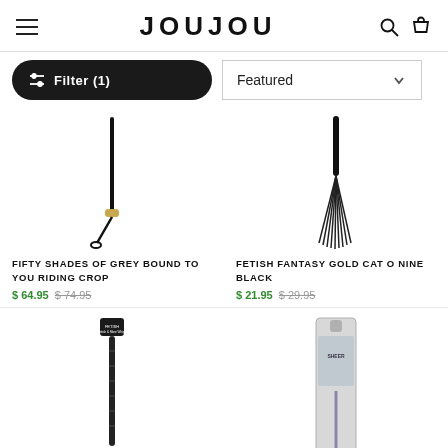JOUJOU
Filter (1)
Featured
[Figure (photo): Riding crop product image - black leather crop with loop]
FIFTY SHADES OF GREY BOUND TO YOU RIDING CROP
$ 64.95  $ 74.95
[Figure (photo): Cat o nine tails whip - black flogger]
FETISH FANTASY GOLD CAT O NINE BLACK
$ 21.95  $ 29.95
[Figure (photo): Fetish brand black riding crop with handle tag]
[Figure (photo): Product in slim white/grey box packaging]